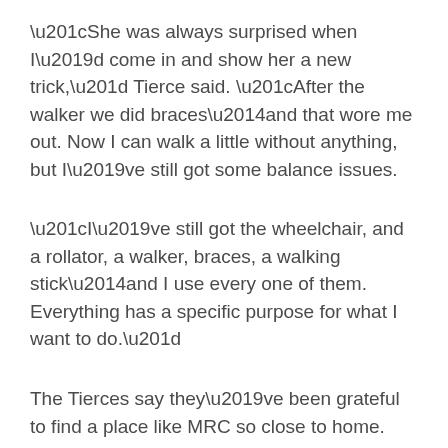“She was always surprised when I’d come in and show her a new trick,” Tierce said. “After the walker we did braces—and that wore me out. Now I can walk a little without anything, but I’ve still got some balance issues.
“I’ve still got the wheelchair, and a rollator, a walker, braces, a walking stick—and I use every one of them. Everything has a specific purpose for what I want to do.”
The Tierces say they’ve been grateful to find a place like MRC so close to home.
“Your first instinct is, ‘Where do I go to get the best treatment?’ And I don’t think we could have gotten any better treatment